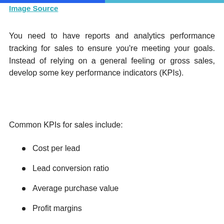Image Source
You need to have reports and analytics performance tracking for sales to ensure you're meeting your goals. Instead of relying on a general feeling or gross sales, develop some key performance indicators (KPIs).
Common KPIs for sales include:
Cost per lead
Lead conversion ratio
Average purchase value
Profit margins